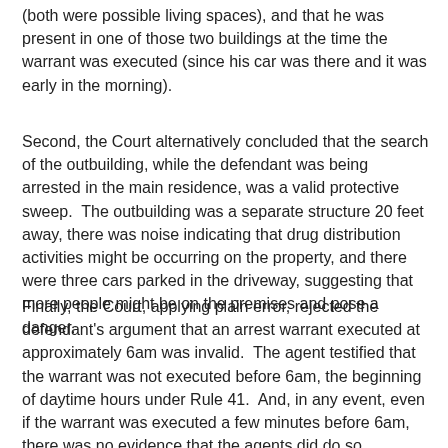(both were possible living spaces), and that he was present in one of those two buildings at the time the warrant was executed (since his car was there and it was early in the morning).
Second, the Court alternatively concluded that the search of the outbuilding, while the defendant was being arrested in the main residence, was a valid protective sweep.  The outbuilding was a separate structure 20 feet away, there was noise indicating that drug distribution activities might be occurring on the property, and there were three cars parked in the driveway, suggesting that more people might be on the premises and pose a danger.
Finally, the Court, applying plain error, rejected the defendant's argument that an arrest warrant executed at approximately 6am was invalid.  The agent testified that the warrant was not executed before 6am, the beginning of daytime hours under Rule 41.  And, in any event, even if the warrant was executed a few minutes before 6am, there was no evidence that the agents did do so deliberately or that his arrest would not have otherwise occurred.  Thus, any